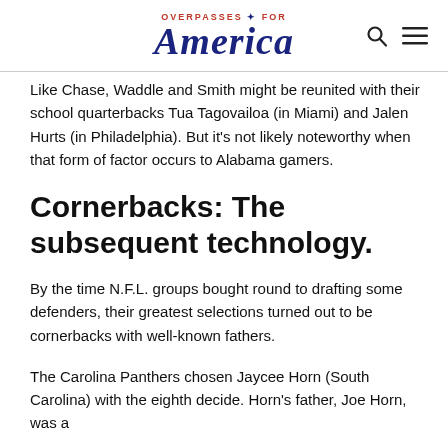OVERPASSES FOR America
Like Chase, Waddle and Smith might be reunited with their school quarterbacks Tua Tagovailoa (in Miami) and Jalen Hurts (in Philadelphia). But it’s not likely noteworthy when that form of factor occurs to Alabama gamers.
Cornerbacks: The subsequent technology.
By the time N.F.L. groups bought round to drafting some defenders, their greatest selections turned out to be cornerbacks with well-known fathers.
The Carolina Panthers chosen Jaycee Horn (South Carolina) with the eighth decide. Horn’s father, Joe Horn, was a